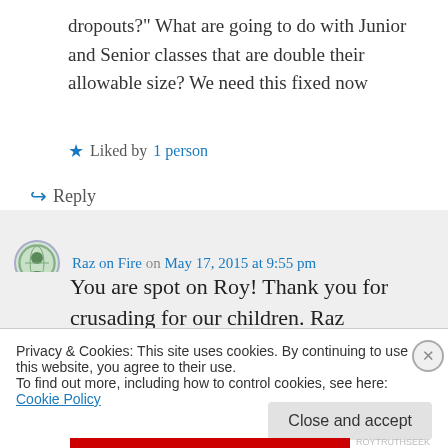dropouts?" What are going to do with Junior and Senior classes that are double their allowable size? We need this fixed now
Liked by 1 person
↳ Reply
Raz on Fire on May 17, 2015 at 9:55 pm
You are spot on Roy! Thank you for crusading for our children. Raz
Privacy & Cookies: This site uses cookies. By continuing to use this website, you agree to their use.
To find out more, including how to control cookies, see here: Cookie Policy
Close and accept